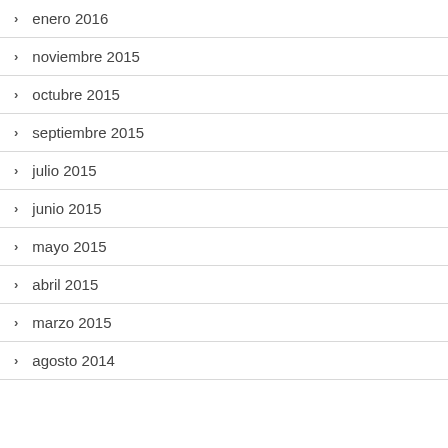enero 2016
noviembre 2015
octubre 2015
septiembre 2015
julio 2015
junio 2015
mayo 2015
abril 2015
marzo 2015
agosto 2014